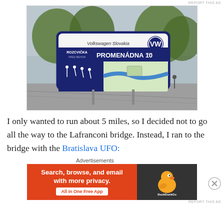[Figure (photo): Outdoor photograph of a Volkswagen Slovakia running route sign board reading 'PROMENÁDNA 10 km' with a map and exercise illustrations, set against trees and cloudy sky]
I only wanted to run about 5 miles, so I decided not to go all the way to the Lafranconi bridge. Instead, I ran to the bridge with the Bratislava UFO:
Advertisements
[Figure (screenshot): DuckDuckGo advertisement banner: orange left side reading 'Search, browse, and email with more privacy. All in One Free App' and dark right side with DuckDuckGo duck logo]